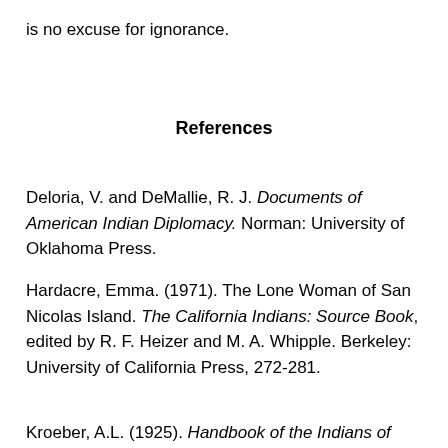is no excuse for ignorance.
References
Deloria, V. and DeMallie, R. J. Documents of American Indian Diplomacy. Norman: University of Oklahoma Press.
Hardacre, Emma. (1971). The Lone Woman of San Nicolas Island. The California Indians: Source Book, edited by R. F. Heizer and M. A. Whipple. Berkeley: University of California Press, 272-281.
Kroeber, A.L. (1925). Handbook of the Indians of California.